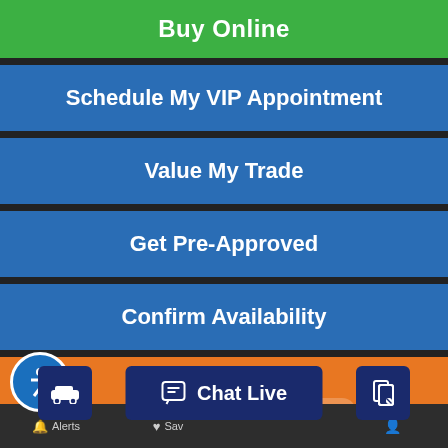Buy Online
Schedule My VIP Appointment
Value My Trade
Get Pre-Approved
Confirm Availability
Call Now
Calculate Your Payments
Value Your Trade
Chat Live
Alerts
Sav...